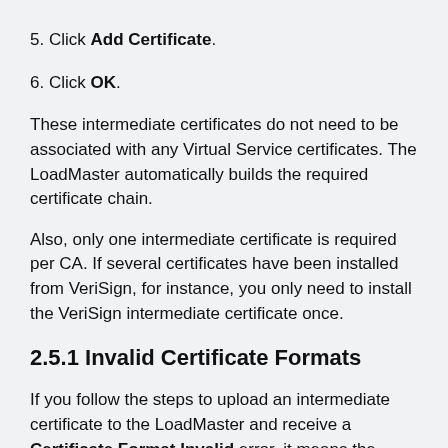5. Click Add Certificate.
6. Click OK.
These intermediate certificates do not need to be associated with any Virtual Service certificates. The LoadMaster automatically builds the required certificate chain.
Also, only one intermediate certificate is required per CA. If several certificates have been installed from VeriSign, for instance, you only need to install the VeriSign intermediate certificate once.
2.5.1 Invalid Certificate Formats
If you follow the steps to upload an intermediate certificate to the LoadMaster and receive a Certificate Format Invalid error, it means the certificate file you are trying to upload is unsupported or is not in one of the formats required by